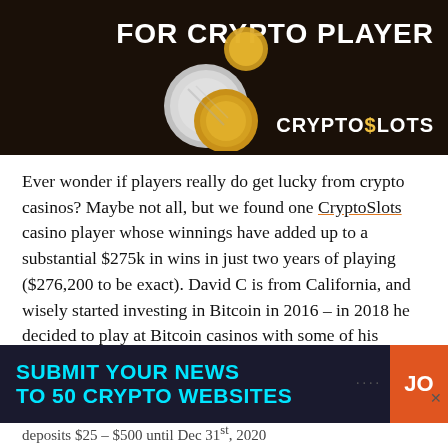[Figure (illustration): CryptoSlots casino promotional banner with dark background, coins, and text 'FOR CRYPTO PLAYER' and 'CRYPTO$LOTS' logo]
Ever wonder if players really do get lucky from crypto casinos? Maybe not all, but we found one CryptoSlots casino player whose winnings have added up to a substantial $275k in wins in just two years of playing ($276,200 to be exact). David C is from California, and wisely started investing in Bitcoin in 2016 – in 2018 he decided to play at Bitcoin casinos with some of his savings, and the rest is history. Read our interview with
[Figure (infographic): Dark blue popup banner: 'SUBMIT YOUR NEWS TO 50 CRYPTO WEBSITES' in cyan bold text, with an orange 'JO' button on the right and a close X button]
deposits $25 – $500 until Dec 31st, 2020